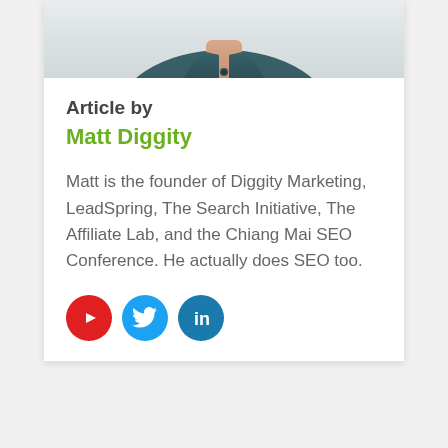[Figure (photo): Partial photo of Matt Diggity, showing neck and shoulders, wearing a dark teal shirt, cropped at top of card.]
Article by
Matt Diggity
Matt is the founder of Diggity Marketing, LeadSpring, The Search Initiative, The Affiliate Lab, and the Chiang Mai SEO Conference. He actually does SEO too.
[Figure (illustration): Three social media icons: YouTube (red circle with play button), Twitter (blue circle with bird), LinkedIn (teal-blue circle with 'in').]